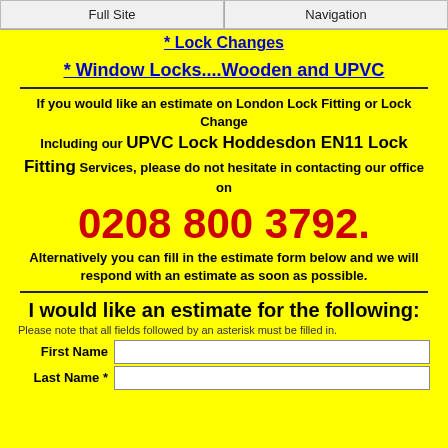Full Site | Navigation
* Lock Changes
*  Window Locks....Wooden and UPVC
If you would like an estimate on London Lock Fitting or Lock Change Including our UPVC Lock Hoddesdon EN11 Lock Fitting Services, please do not hesitate in contacting our office on
0208 800 3792.
Alternatively you can fill in the estimate form below and we will respond with an estimate as soon as possible.
I would like an estimate for the following:
Please note that all fields followed by an asterisk must be filled in.
First Name
Last Name *